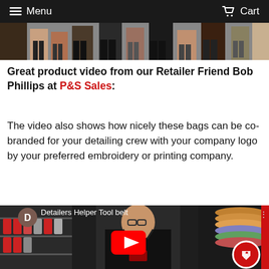Menu   Cart
[Figure (photo): Top portion of a photo showing people's legs/feet, cropped]
Great product video from our Retailer Friend Bob Phillips at P&S Sales:
The video also shows how nicely these bags can be co-branded for your detailing crew with your company logo by your preferred embroidery or printing company.
[Figure (screenshot): YouTube video thumbnail showing a man in a black apron holding a tool belt bag, titled 'Detailers Helper Tool belt', with a red play button overlay and a discount badge in the bottom right corner.]